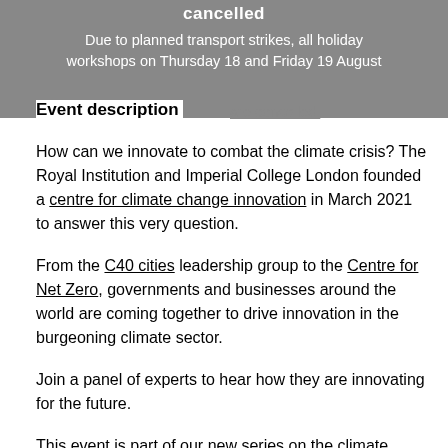cancelled
Due to planned transport strikes, all holiday workshops on Thursday 18 and Friday 19 August are cancelled.
Event description
How can we innovate to combat the climate crisis? The Royal Institution and Imperial College London founded a centre for climate change innovation in March 2021 to answer this very question.
From the C40 cities leadership group to the Centre for Net Zero, governments and businesses around the world are coming together to drive innovation in the burgeoning climate sector.
Join a panel of experts to hear how they are innovating for the future.
This event is part of our new series on the climate crisis